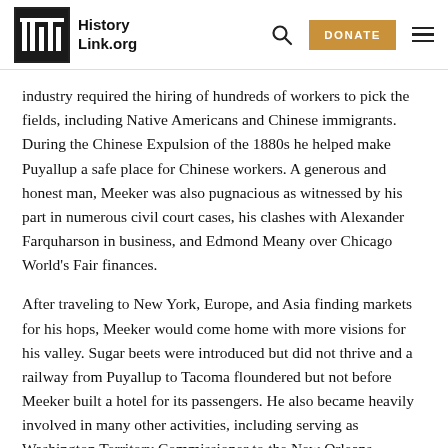HistoryLink.org
industry required the hiring of hundreds of workers to pick the fields, including Native Americans and Chinese immigrants. During the Chinese Expulsion of the 1880s he helped make Puyallup a safe place for Chinese workers. A generous and honest man, Meeker was also pugnacious as witnessed by his part in numerous civil court cases, his clashes with Alexander Farquharson in business, and Edmond Meany over Chicago World's Fair finances.
After traveling to New York, Europe, and Asia finding markets for his hops, Meeker would come home with more visions for his valley. Sugar beets were introduced but did not thrive and a railway from Puyallup to Tacoma floundered but not before Meeker built a hotel for its passengers. He also became heavily involved in many other activities, including serving as Washington Territory Commissioner to the New Orleans Exposition, agricultural editor of the Seattle Post-Intelligencer, president of the Washington Pioneers, and trustee of the Puyallup Water and Light Company, in